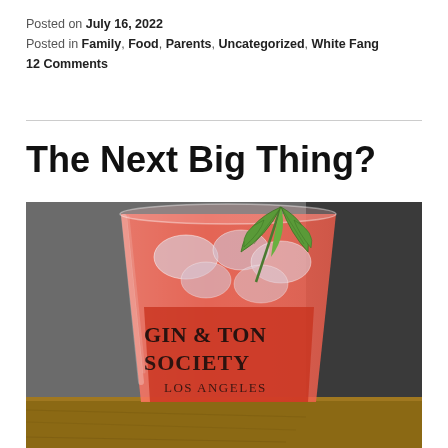Posted on July 16, 2022
Posted in Family, Food, Parents, Uncategorized, White Fang
12 Comments
The Next Big Thing?
[Figure (photo): A glass tumbler with a pink/red cocktail drink over ice, garnished with fresh mint leaves. The glass is branded with 'GIN & TONIC SOCIETY LOS ANGELES' text on it. The glass sits on a wooden surface.]